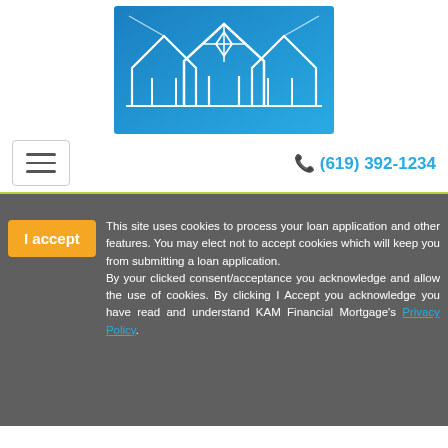[Figure (logo): KAM Financial Mortgage logo: white geometric house/roof shapes with crossing lines on a blue gradient background]
☰   📞 (619) 392-1234
"Can I Buy Land And Build A House With An FHA Loan?"
This site uses cookies to process your loan application and other features. You may elect not to accept cookies which will keep you from submitting a loan application. By your clicked consent/acceptance you acknowledge and allow the use of cookies. By clicking I Accept you acknowledge you have read and understand KAM Financial Mortgage's Privacy Policy.